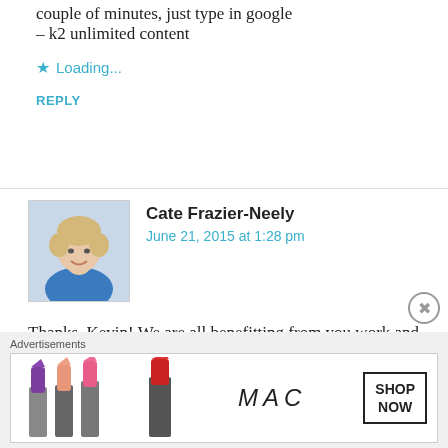couple of minutes, just type in google – k2 unlimited content
Loading...
REPLY
[Figure (photo): Avatar photo of Cate Frazier-Neely, a woman with short blonde hair smiling, wearing a blue top]
Cate Frazier-Neely
June 21, 2015 at 1:28 pm
Thanks, Kevin! We are all benefitting from you work and willingness to share it!
Loading...
Advertisements